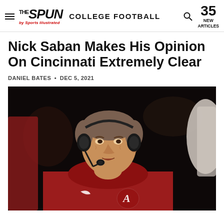THE SPUN by Sports Illustrated — COLLEGE FOOTBALL — 35 NEW ARTICLES
Nick Saban Makes His Opinion On Cincinnati Extremely Clear
DANIEL BATES • DEC 5, 2021
[Figure (photo): Nick Saban wearing a red Alabama jacket and headset with microphone, on the sideline]